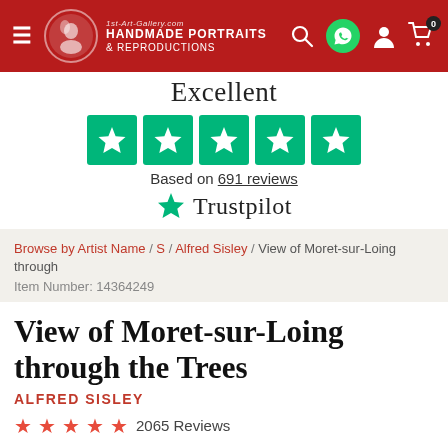1st-Art-Gallery.com HANDMADE PORTRAITS & REPRODUCTIONS
Excellent
[Figure (other): Five Trustpilot green star rating boxes]
Based on 691 reviews
[Figure (logo): Trustpilot logo with green star]
Browse by Artist Name / S / Alfred Sisley / View of Moret-sur-Loing through
Item Number: 14364249
View of Moret-sur-Loing through the Trees
ALFRED SISLEY
2065 Reviews
Get hand painted museum quality reproduction of "View of Moret-sur-Loing through the Trees" by Alfred Sisley. The Reproduction will be hand painted by one of our talented artist.